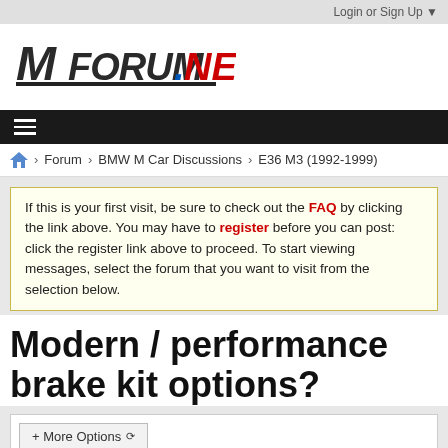Login or Sign Up
[Figure (logo): MForum.NET logo — stylized italic M with FORUM in dark and .NET in red/blue]
≡ (hamburger menu)
Forum > BMW M Car Discussions > E36 M3 (1992-1999)
If this is your first visit, be sure to check out the FAQ by clicking the link above. You may have to register before you can post: click the register link above to proceed. To start viewing messages, select the forum that you want to visit from the selection below.
Modern / performance brake kit options?
+ More Options